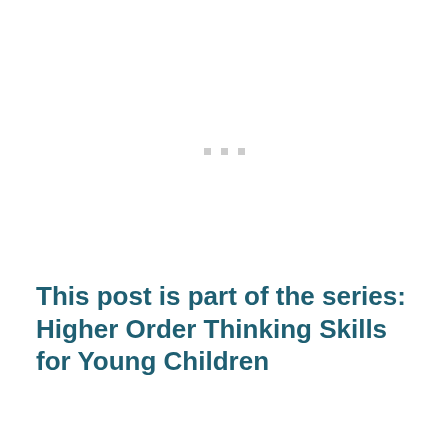[Figure (other): Three small grey square dots arranged horizontally, indicating a loading or placeholder image area]
This post is part of the series: Higher Order Thinking Skills for Young Children